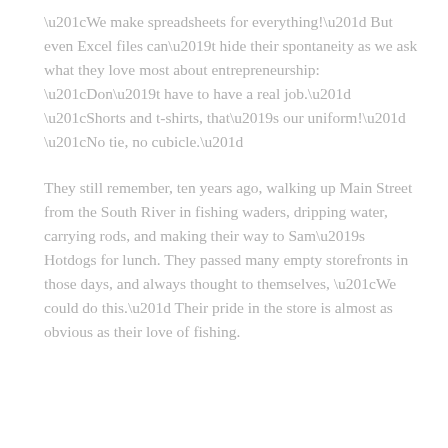“We make spreadsheets for everything!” But even Excel files can’t hide their spontaneity as we ask what they love most about entrepreneurship:  “Don’t have to have a real job.”  “Shorts and t-shirts, that’s our uniform!”  “No tie, no cubicle.”
They still remember, ten years ago, walking up Main Street from the South River in fishing waders, dripping water, carrying rods, and making their way to Sam’s Hotdogs for lunch. They passed many empty storefronts in those days, and always thought to themselves, “We could do this.” Their pride in the store is almost as obvious as their love of fishing.